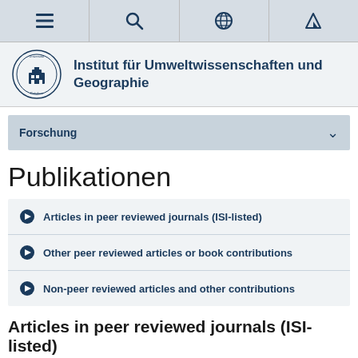Navigation bar with menu, search, globe, and location icons
Institut für Umweltwissenschaften und Geographie
Forschung
Publikationen
Articles in peer reviewed journals (ISI-listed)
Other peer reviewed articles or book contributions
Non-peer reviewed articles and other contributions
Articles in peer reviewed journals (ISI-listed)